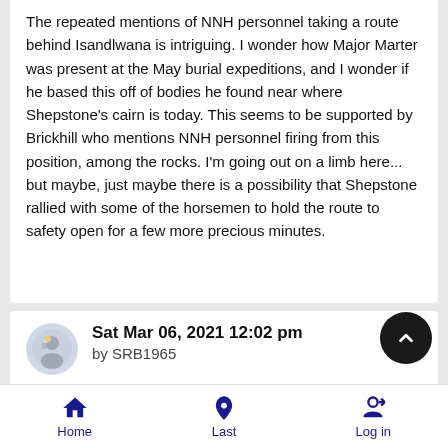The repeated mentions of NNH personnel taking a route behind Isandlwana is intriguing. I wonder how Major Marter was present at the May burial expeditions, and I wonder if he based this off of bodies he found near where Shepstone's cairn is today. This seems to be supported by Brickhill who mentions NNH personnel firing from this position, among the rocks. I'm going out on a limb here... but maybe, just maybe there is a possibility that Shepstone rallied with some of the horsemen to hold the route to safety open for a few more precious minutes.
Sat Mar 06, 2021 12:02 pm
by SRB1965
Hi,

When AWD arrived in or near the camp - he sent a troop of
Home   Last   Log in